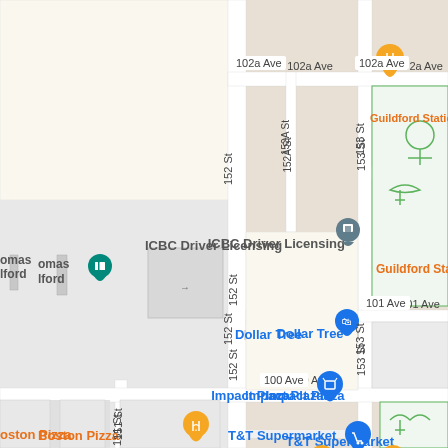[Figure (map): Google Maps screenshot showing a street map of the Guildford area. Streets visible include 102a Ave, 100 Ave, 151 St, 152 St, 152A St, 153 St. Notable locations include ICBC Driver Licensing, Dollar Tree, Impact Plaza, T&T Supermarket, Boston Pizza, Steve's Poké Bar, Guildford Station P (park and ride), and Thomas Guilford (cinema). Map pins in blue (shopping), orange (restaurant), and gray (government/other) are shown.]